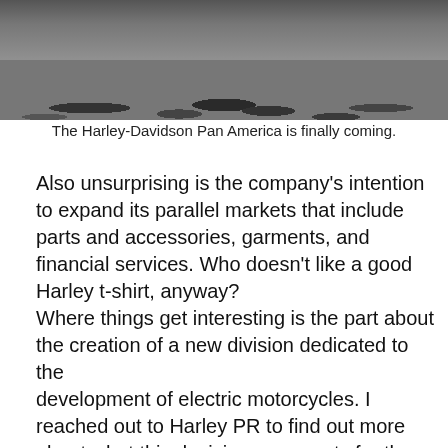[Figure (photo): Black and white photo of rocky ground, appears to show the Harley-Davidson Pan America motorcycle in a rocky outdoor setting.]
The Harley-Davidson Pan America is finally coming.
Also unsurprising is the company's intention to expand its parallel markets that include parts and accessories, garments, and financial services. Who doesn't like a good Harley t-shirt, anyway?
Where things get interesting is the part about the creation of a new division dedicated to the development of electric motorcycles. I reached out to Harley PR to find out more about what this decision represents for the company.
While PR didn't elaborate on the specifics and told me that there are more announcements to come on the matter, they did say that the new division